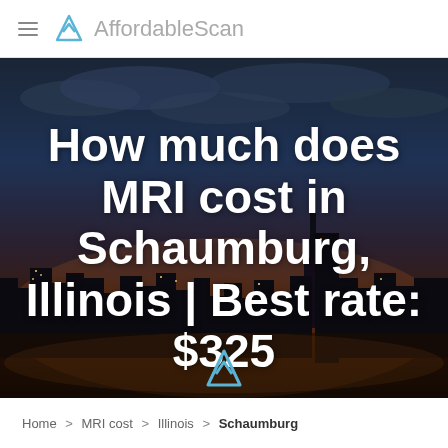AffordableScan
[Figure (photo): Night aerial photo of Chicago city skyline with illuminated skyscrapers against a dusk sky with clouds, used as hero background image]
How much does MRI cost in Schaumburg, Illinois | Best rate: $325
Home > MRI cost > Illinois > Schaumburg